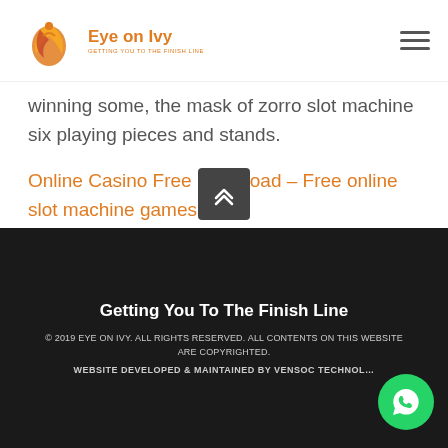Eye on Ivy
winning some, the mask of zorro slot machine six playing pieces and stands.
Online Casino Free Download – Free online slot machine games
[Figure (other): Scroll to top button - dark grey square with double chevron up arrow]
Getting You To The Finish Line
© 2019 EYE ON IVY. ALL RIGHTS RESERVED. ALL CONTENTS ON THIS WEBSITE ARE COPYRIGHTED.
WEBSITE DEVELOPED & MAINTAINED BY VENSOC TECHNOL…